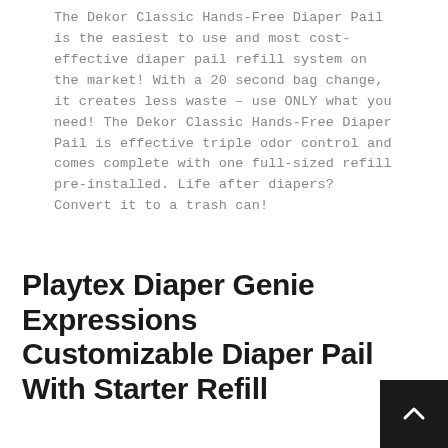The Dekor Classic Hands-Free Diaper Pail is the easiest to use and most cost-effective diaper pail refill system on the market! With a 20 second bag change, it creates less waste – use ONLY what you need! The Dekor Classic Hands-Free Diaper Pail is effective triple odor control and comes complete with one full-sized refill pre-installed. Life after diapers? Convert it to a trash can!
Playtex Diaper Genie Expressions Customizable Diaper Pail With Starter Refill